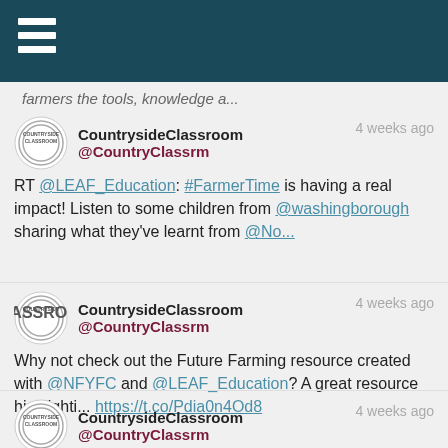farmers the tools, knowledge a...
CountrysideClassroom @CountryClassrm 4 weeks ago
RT @LEAF_Education: #FarmerTime is having a real impact! Listen to some children from @washingborough sharing what they've learnt from @No...
CountrysideClassroom @CountryClassrm 4 weeks ago
Why not check out the Future Farming resource created with @NFYFC and @LEAF_Education? A great resource highlighti... https://t.co/Pdia0n4Od8
CountrysideClassroom @CountryClassrm 4 weeks ago
Lets talk Why Farming Matters today for #Farm24! 🌾 This